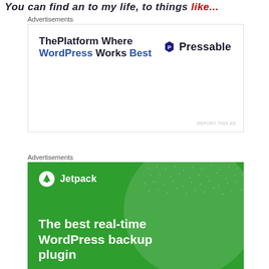You can find an to my life, to things like...
Advertisements
[Figure (advertisement): Pressable advertisement: ThePlatform Where WordPress Works Best, with Pressable logo on the right]
Advertisements
[Figure (advertisement): Jetpack advertisement: The best real-time WordPress backup plugin, green background with Jetpack logo]